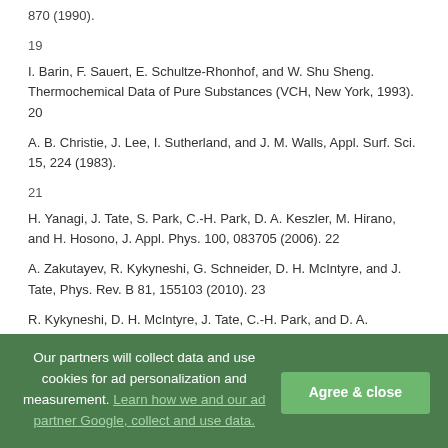870 (1990).
19
I. Barin, F. Sauert, E. Schultze-Rhonhof, and W. Shu Sheng. Thermochemical Data of Pure Substances (VCH, New York, 1993). 20
A. B. Christie, J. Lee, I. Sutherland, and J. M. Walls, Appl. Surf. Sci. 15, 224 (1983).
21
H. Yanagi, J. Tate, S. Park, C.-H. Park, D. A. Keszler, M. Hirano, and H. Hosono, J. Appl. Phys. 100, 083705 (2006). 22
A. Zakutayev, R. Kykyneshi, G. Schneider, D. H. McIntyre, and J. Tate, Phys. Rev. B 81, 155103 (2010). 23
R. Kykyneshi, D. H. McIntyre, J. Tate, C.-H. Park, and D. A.
Our partners will collect data and use cookies for ad personalization and measurement. Learn how we and our ad partner Google, collect and use data.